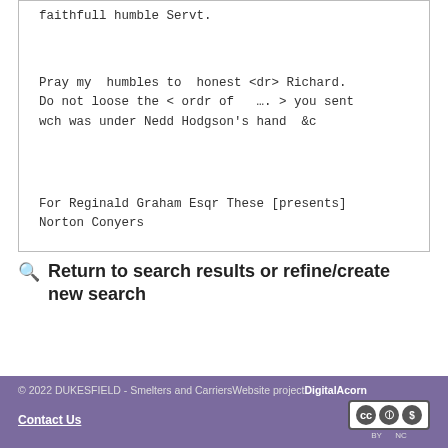faithfull humble Servt.

Pray my humbles to honest <dr> Richard.
Do not loose the < ordr of …. > you sent
wch was under Nedd Hodgson's hand &c

For Reginald Graham Esqr These [presents]
Norton Conyers
Return to search results or refine/create new search
© 2022 DUKESFIELD - Smelters and Carriers Website project DigitalAcorn
Contact Us